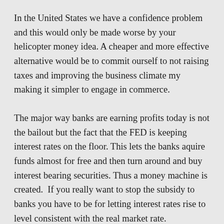In the United States we have a confidence problem and this would only be made worse by your helicopter money idea. A cheaper and more effective alternative would be to commit ourself to not raising taxes and improving the business climate my making it simpler to engage in commerce.
The major way banks are earning profits today is not the bailout but the fact that the FED is keeping interest rates on the floor. This lets the banks aquire funds almost for free and then turn around and buy interest bearing securities. Thus a money machine is created.  If you really want to stop the subsidy to banks you have to be for letting interest rates rise to level consistent with the real market rate.